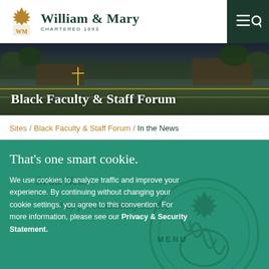William & Mary — Chartered 1693
[Figure (screenshot): Hero banner photo of William & Mary athletic stadium/track at dusk with dark sky and trees]
Black Faculty & Staff Forum
Sites / Black Faculty & Staff Forum / In the News
That's one smart cookie.
We use cookies to analyze traffic and improve your experience. By continuing without changing your cookie settings, you agree to this convention. For more information, please see our Privacy & Security Statement.